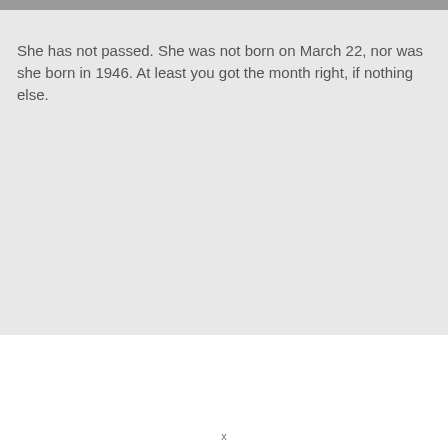She has not passed. She was not born on March 22, nor was she born in 1946. At least you got the month right, if nothing else.
x